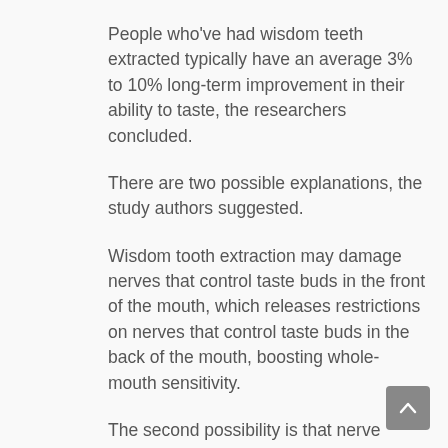People who've had wisdom teeth extracted typically have an average 3% to 10% long-term improvement in their ability to taste, the researchers concluded.
There are two possible explanations, the study authors suggested.
Wisdom tooth extraction may damage nerves that control taste buds in the front of the mouth, which releases restrictions on nerves that control taste buds in the back of the mouth, boosting whole-mouth sensitivity.
The second possibility is that nerve damage from wisdom tooth extraction may cause taste hypersensitivity, according to the report.
"Further studies are needed to determine the mechanism or mechanisms behind the extraction-related improvement in taste function," Doty said. "The effects are subtle, but may provide insight into how long-term